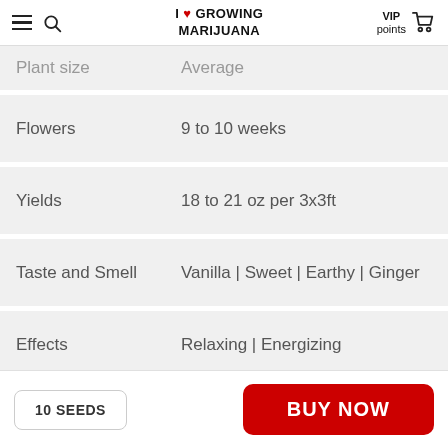I LOVE GROWING MARIJUANA — VIP points, Cart
| Attribute | Value |
| --- | --- |
| Plant size | Average |
| Flowers | 9 to 10 weeks |
| Yields | 18 to 21 oz per 3x3ft |
| Taste and Smell | Vanilla | Sweet | Earthy | Ginger |
| Effects | Relaxing | Energizing |
10 SEEDS
BUY NOW